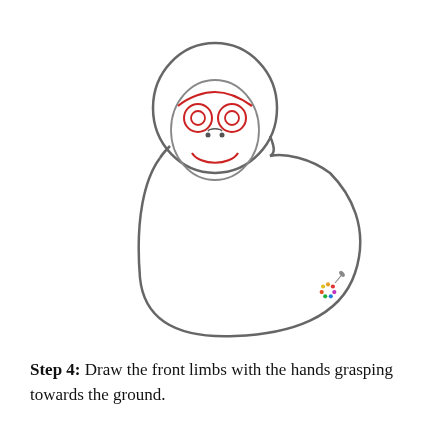[Figure (illustration): Step-by-step drawing tutorial illustration of a cartoon gorilla. The gorilla body and head outline are drawn in gray. The facial features (brow ridge, eye circles, and smile) are drawn in red. A small colorful artist palette watermark appears at bottom right of the illustration.]
Step 4: Draw the front limbs with the hands grasping towards the ground.